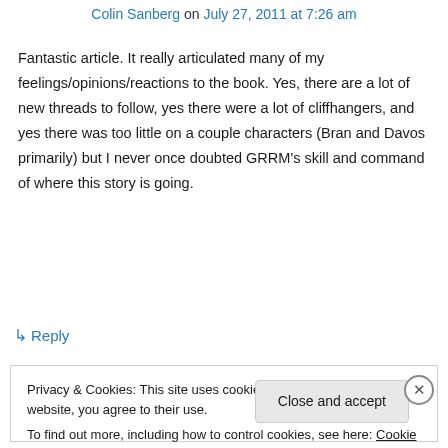Colin Sanberg on July 27, 2011 at 7:26 am
Fantastic article. It really articulated many of my feelings/opinions/reactions to the book. Yes, there are a lot of new threads to follow, yes there were a lot of cliffhangers, and yes there was too little on a couple characters (Bran and Davos primarily) but I never once doubted GRRM's skill and command of where this story is going.
↳ Reply
Privacy & Cookies: This site uses cookies. By continuing to use this website, you agree to their use.
To find out more, including how to control cookies, see here: Cookie Policy
Close and accept